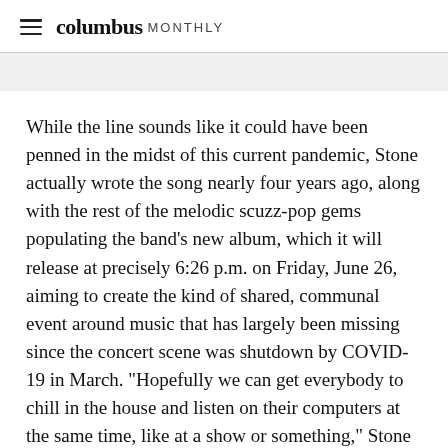columbus MONTHLY
While the line sounds like it could have been penned in the midst of this current pandemic, Stone actually wrote the song nearly four years ago, along with the rest of the melodic scuzz-pop gems populating the band’s new album, which it will release at precisely 6:26 p.m. on Friday, June 26, aiming to create the kind of shared, communal event around music that has largely been missing since the concert scene was shutdown by COVID-19 in March. “Hopefully we can get everybody to chill in the house and listen on their computers at the same time, like at a show or something,” Stone said.